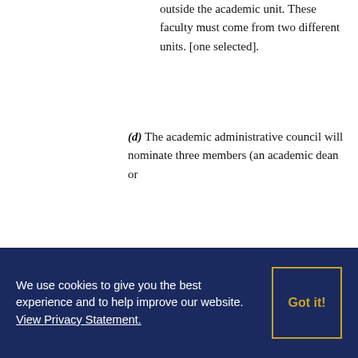outside the academic unit. These faculty must come from two different units. [one selected].
(d) The academic administrative council will nominate three members (an academic dean or
We use cookies to give you the best experience and to help improve our website. View Privacy Statement.